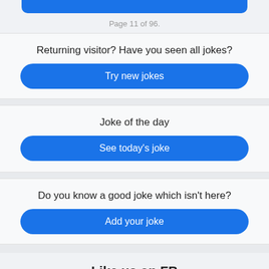[Figure (other): Blue rounded button bar at top (partially visible)]
Page 11 of 96.
Returning visitor? Have you seen all jokes?
Try new jokes
Joke of the day
See today's joke
Do you know a good joke which isn't here?
Add your joke
Like us on FB